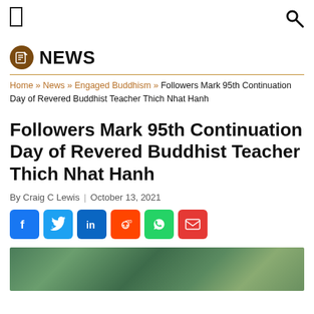Menu | Search
NEWS
Home » News » Engaged Buddhism » Followers Mark 95th Continuation Day of Revered Buddhist Teacher Thich Nhat Hanh
Followers Mark 95th Continuation Day of Revered Buddhist Teacher Thich Nhat Hanh
By Craig C Lewis | October 13, 2021
[Figure (other): Social share buttons: Facebook, Twitter, LinkedIn, Reddit, WhatsApp, Email]
[Figure (photo): Outdoor nature/forest photo at the bottom of the page]